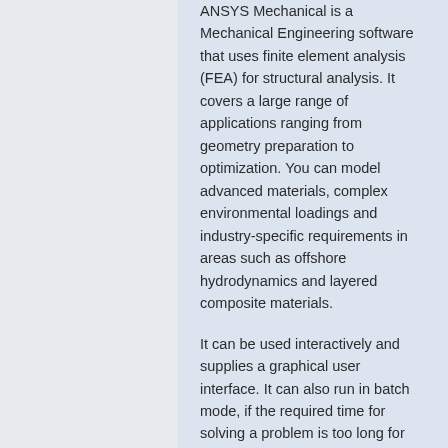ANSYS Mechanical is a Mechanical Engineering software that uses finite element analysis (FEA) for structural analysis. It covers a large range of applications ranging from geometry preparation to optimization. You can model advanced materials, complex environmental loadings and industry-specific requirements in areas such as offshore hydrodynamics and layered composite materials.
It can be used interactively and supplies a graphical user interface. It can also run in batch mode, if the required time for solving a problem is too long for interactive use. The latter